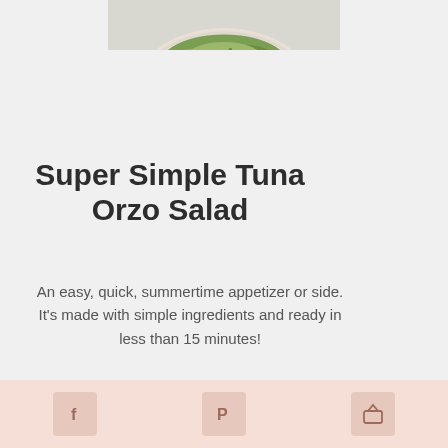[Figure (photo): A white bowl filled with tuna orzo salad, topped with green herbs and vegetables, viewed from above on a light marble surface.]
Super Simple Tuna Orzo Salad
An easy, quick, summertime appetizer or side. It's made with simple ingredients and ready in less than 15 minutes!
[Figure (other): Five empty star rating icons in orange/salmon color indicating no ratings yet]
No ratings yet
Share bar with Facebook, Pinterest, and another social share icon